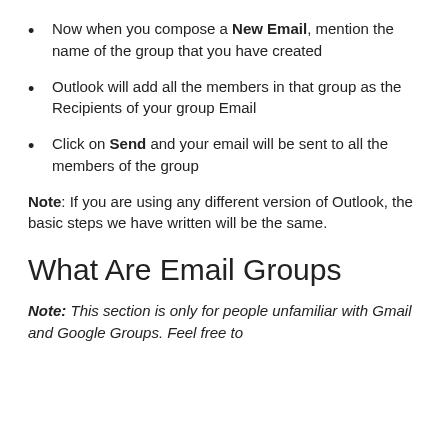Now when you compose a New Email, mention the name of the group that you have created
Outlook will add all the members in that group as the Recipients of your group Email
Click on Send and your email will be sent to all the members of the group
Note: If you are using any different version of Outlook, the basic steps we have written will be the same.
What Are Email Groups
Note: This section is only for people unfamiliar with Gmail and Google Groups. Feel free to